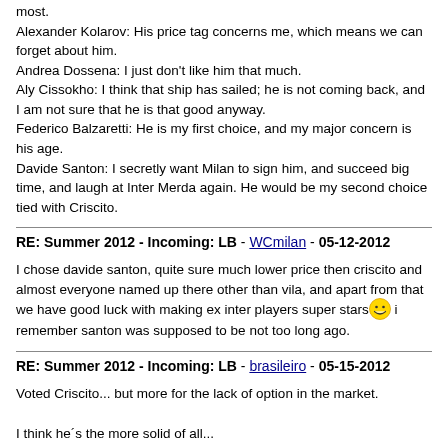most.
Alexander Kolarov: His price tag concerns me, which means we can forget about him.
Andrea Dossena: I just don't like him that much.
Aly Cissokho: I think that ship has sailed; he is not coming back, and I am not sure that he is that good anyway.
Federico Balzaretti: He is my first choice, and my major concern is his age.
Davide Santon: I secretly want Milan to sign him, and succeed big time, and laugh at Inter Merda again. He would be my second choice tied with Criscito.
RE: Summer 2012 - Incoming: LB - WCmilan - 05-12-2012
I chose davide santon, quite sure much lower price then criscito and almost everyone named up there other than vila, and apart from that we have good luck with making ex inter players super stars [emoji] i remember santon was supposed to be not too long ago.
RE: Summer 2012 - Incoming: LB - brasileiro - 05-15-2012
Voted Criscito... but more for the lack of option in the market.

I think he´s the more solid of all...
RE: Summer 2012 - Incoming: LB - Gabriel426 - 05-15-2012